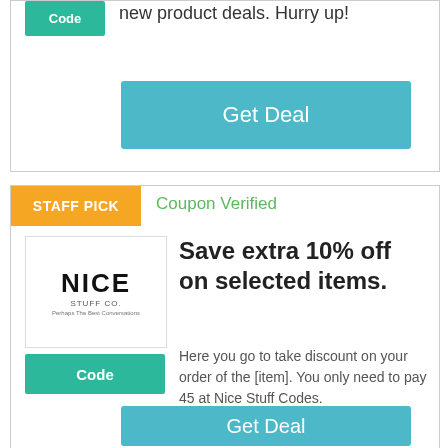[Figure (logo): Green teal 'Code' badge button]
new product deals. Hurry up!
Get Deal
STAFF PICK
Coupon Verified
[Figure (logo): Nice Stuff Co. logo with tagline]
Code
Save extra 10% off on selected items.
Here you go to take discount on your order of the [item]. You only need to pay 45 at Nice Stuff Codes.
Get Deal